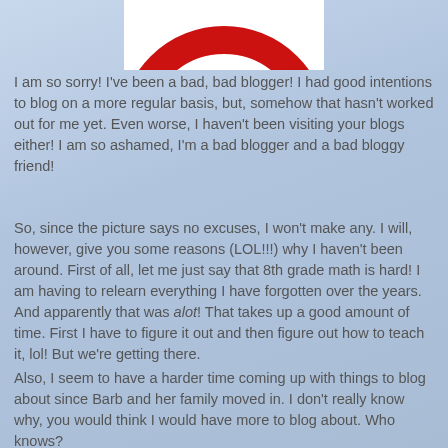[Figure (illustration): Partial view of a red circle/ring (no excuses symbol) on white background, cropped at top of page]
I am so sorry!  I've been a bad, bad blogger!  I had good intentions to blog on a more regular basis, but, somehow that hasn't worked out for me yet.  Even worse, I haven't been visiting your blogs either!  I am so ashamed, I'm a bad blogger and a bad bloggy friend!
So, since the picture says no excuses,  I won't make any.  I will, however, give you some reasons (LOL!!!) why I haven't been around.  First of all, let me just say that 8th grade math is hard!  I am having to relearn everything I have forgotten over the years.  And apparently that was alot!  That takes up a good amount of time.  First I have to figure it out and then figure out how to teach it, lol!  But we're getting there.
Also, I seem to have a harder time coming up with things to blog about since Barb and her family moved in.  I don't really know why, you would think I would have more to blog about.  Who knows?